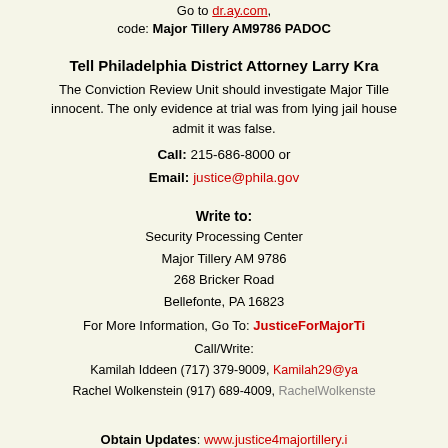Go to dr.ay.com, code: Major Tillery AM9786 PADOC
Tell Philadelphia District Attorney Larry Kra...
The Conviction Review Unit should investigate Major Tille... innocent. The only evidence at trial was from lying jail house ... admit it was false.
Call: 215-686-8000 or Email: justice@phila.gov
Write to:
Security Processing Center
Major Tillery AM 9786
268 Bricker Road
Bellefonte, PA 16823
For More Information, Go To: JusticeForMajorTi...
Call/Write:
Kamilah Iddeen (717) 379-9009, Kamilah29@ya...
Rachel Wolkenstein (917) 689-4009, RachelWolkenste...
Obtain Updates: www.justice4majortillery.i...